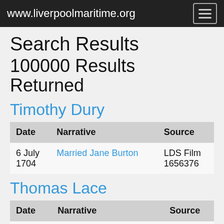www.liverpoolmaritime.org
Search Results
100000 Results Returned
Timothy Dury
| Date | Narrative | Source |
| --- | --- | --- |
| 6 July
1704 | Married Jane Burton | LDS Film
1656376 |
Thomas Lace
| Date | Narrative | Source |
| --- | --- | --- |
| 21 July
1704 | Married Dorothy Blundle | LDS Film
1656376 |